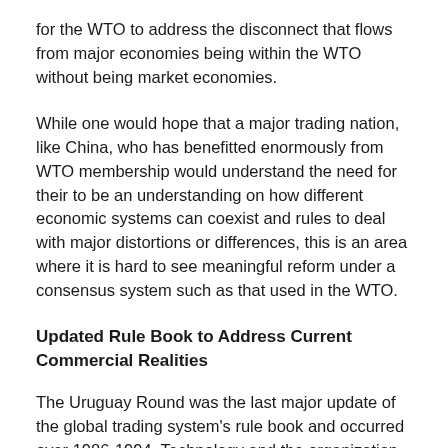for the WTO to address the disconnect that flows from major economies being within the WTO without being market economies.
While one would hope that a major trading nation, like China, who has benefitted enormously from WTO membership would understand the need for their to be an understanding on how different economic systems can coexist and rules to deal with major distortions or differences, this is an area where it is hard to see meaningful reform under a consensus system such as that used in the WTO.
Updated Rule Book to Address Current Commercial Realities
The Uruguay Round was the last major update of the global trading system's rule book and occurred over 1986-1994. Technology and the organization of much of